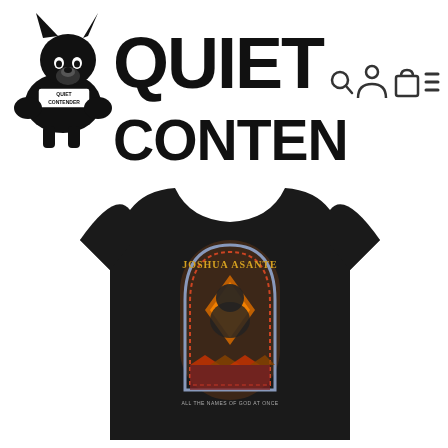[Figure (logo): Quiet Contender brand logo: a stylized dog (boxer breed) wearing a collar with 'Quiet Contender' text, alongside large bold black text reading 'QUIET CONTENDER' stacked on two lines]
[Figure (illustration): Navigation icons: search (magnifying glass), account (person silhouette), cart (shopping bag), and menu (hamburger/three lines)]
[Figure (photo): A black t-shirt featuring graphic artwork of Joshua Asante. The design shows a person in an ornate arch/gothic window frame with colorful geometric patterns. Text on shirt reads 'JOSHUA ASANTE' in gold letters and smaller text at bottom.]